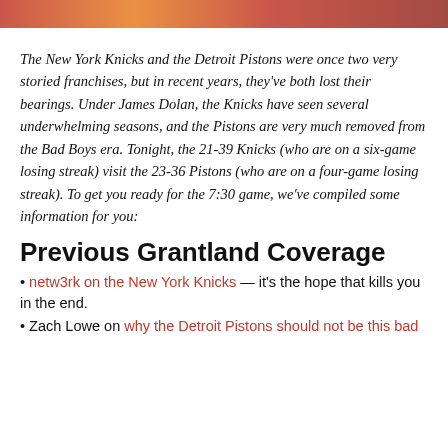[Figure (photo): Top banner image showing basketball players, partially cropped]
The New York Knicks and the Detroit Pistons were once two very storied franchises, but in recent years, they've both lost their bearings. Under James Dolan, the Knicks have seen several underwhelming seasons, and the Pistons are very much removed from the Bad Boys era. Tonight, the 21-39 Knicks (who are on a six-game losing streak) visit the 23-36 Pistons (who are on a four-game losing streak). To get you ready for the 7:30 game, we've compiled some information for you:
Previous Grantland Coverage
• netw3rk on the New York Knicks — it's the hope that kills you in the end.
• Zach Lowe on why the Detroit Pistons should not be this bad